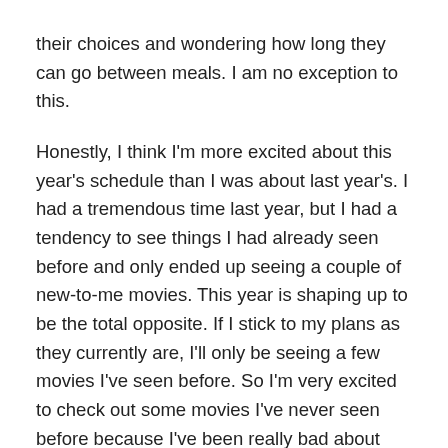their choices and wondering how long they can go between meals. I am no exception to this.
Honestly, I think I'm more excited about this year's schedule than I was about last year's. I had a tremendous time last year, but I had a tendency to see things I had already seen before and only ended up seeing a couple of new-to-me movies. This year is shaping up to be the total opposite. If I stick to my plans as they currently are, I'll only be seeing a few movies I've seen before. So I'm very excited to check out some movies I've never seen before because I've been really bad about watching things I haven't seen before lately. It really will be awesome to make lots of discoveries this year.
Much like last year, I'm going into the festival this year fully expecting my plans to change at any time. If you've never